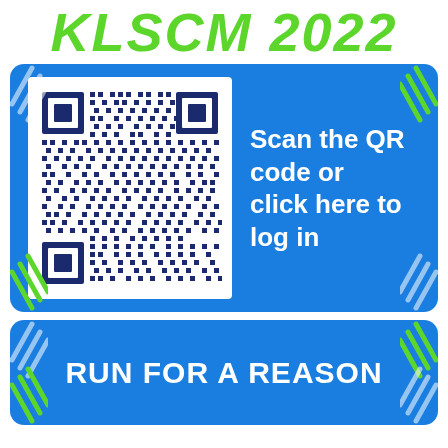KLSCM 2022
[Figure (other): Blue rounded rectangle box containing a QR code on the left and text 'Scan the QR code or click here to log in' on the right, with decorative white diagonal stripe corners and green diagonal stripe corners]
Scan the QR code or click here to log in
[Figure (other): Blue rounded rectangle box with decorative white diagonal stripe corners and green diagonal stripe corners containing bold white text 'RUN FOR A REASON']
RUN FOR A REASON